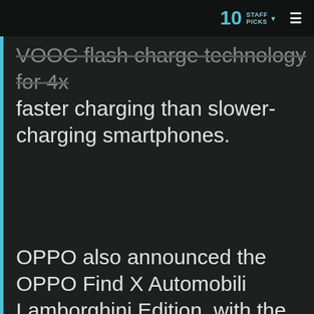10 STAFF PICKS ☰
VOOC flash charge technology for 4x faster charging than slower-charging smartphones.
OPPO also announced the OPPO Find X Automobili Lamborghini Edition, with the same carbon fiber pattern commonly used in Lamborghini